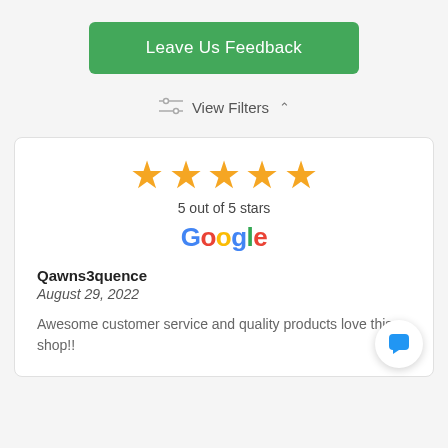Leave Us Feedback
View Filters
[Figure (other): Five golden star rating icons indicating 5 out of 5 stars, followed by the Google logo and a customer review by Qawns3quence dated August 29, 2022 saying 'Awesome customer service and quality products love this shop!!']